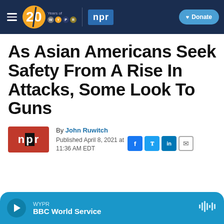WYPR 20 Years of WYPR | npr | Donate
As Asian Americans Seek Safety From A Rise In Attacks, Some Look To Guns
By John Ruwitch
Published April 8, 2021 at 11:36 AM EDT
[Figure (logo): NPR logo and WYPR BBC World Service audio player bar]